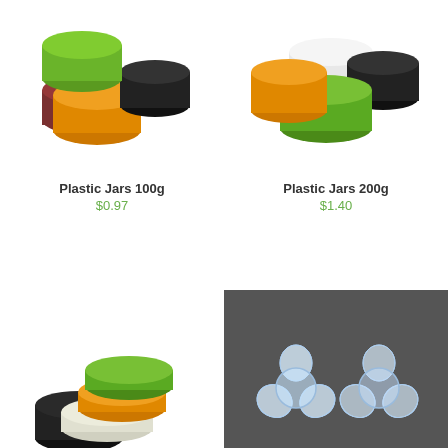[Figure (photo): Colorful plastic jars 100g in green, black, orange, and dark red/maroon colors grouped together on white background]
[Figure (photo): Colorful plastic jars 200g in orange, white, green, and black colors grouped together on white background]
Plastic Jars 100g
$0.97
Plastic Jars 200g
$1.40
[Figure (photo): Stack of colorful plastic jar lids in green, orange, and white/cream with a black jar body, on white background]
[Figure (photo): Two transparent flower-shaped plastic jars on dark background]